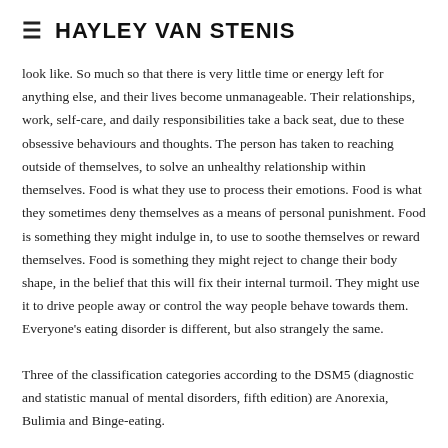≡ HAYLEY VAN STENIS
look like. So much so that there is very little time or energy left for anything else, and their lives become unmanageable. Their relationships, work, self-care, and daily responsibilities take a back seat, due to these obsessive behaviours and thoughts. The person has taken to reaching outside of themselves, to solve an unhealthy relationship within themselves. Food is what they use to process their emotions. Food is what they sometimes deny themselves as a means of personal punishment. Food is something they might indulge in, to use to soothe themselves or reward themselves. Food is something they might reject to change their body shape, in the belief that this will fix their internal turmoil. They might use it to drive people away or control the way people behave towards them. Everyone's eating disorder is different, but also strangely the same.
Three of the classification categories according to the DSM5 (diagnostic and statistic manual of mental disorders, fifth edition) are Anorexia, Bulimia and Binge-eating.